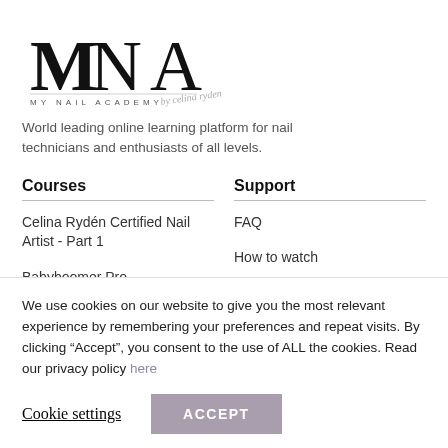[Figure (logo): MNA My Nail Academy logo with stylized letters and signature]
World leading online learning platform for nail technicians and enthusiasts of all levels.
Courses
Celina Rydén Certified Nail Artist - Part 1
Babyboomer Pro
Color & Glitter Application
Support
FAQ
How to watch
Enrolling a course
We use cookies on our website to give you the most relevant experience by remembering your preferences and repeat visits. By clicking "Accept", you consent to the use of ALL the cookies. Read our privacy policy here
Cookie settings
ACCEPT